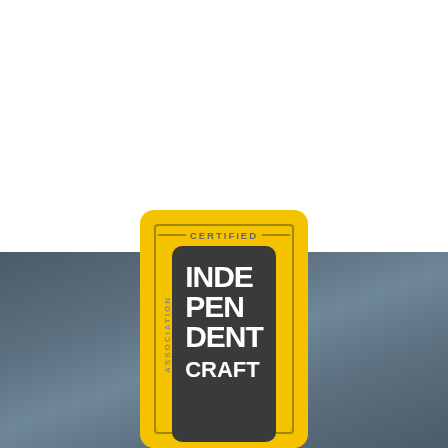[Figure (logo): Association Certified Independent Craft logo — a yellow rounded rectangle card with an inner border, 'CERTIFIED' text at top with dashes, 'ASSOCIATION' text rotated vertically on the left side, and a dark rounded rectangle in the center containing the text 'INDEPENDENT CRAFT' in large bold white letters. Displayed against a blue-grey gradient background.]